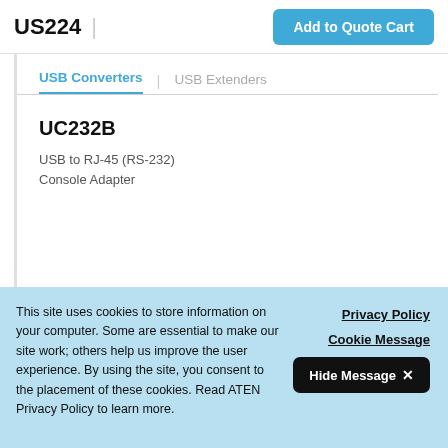US224
Add to Quote Cart
USB Converters
USB Extenders
UC232B
USB to RJ-45 (RS-232) Console Adapter
This site uses cookies to store information on your computer. Some are essential to make our site work; others help us improve the user experience. By using the site, you consent to the placement of these cookies. Read ATEN Privacy Policy to learn more.
Privacy Policy
Cookie Message
Hide Message ✕